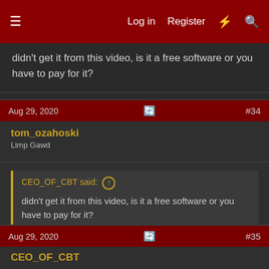Log in   Register   #35
didn't get it from this video, is it a free software or you have to pay for it?
Aug 29, 2020  #34
tom_ozahoski
Limp Gawd
CEO_OF_CBT said: ↑
didn't get it from this video, is it a free software or you have to pay for it?
Should be free like his DRAM calculator. (I hope)
Aug 29, 2020  #35
CEO_OF_CBT